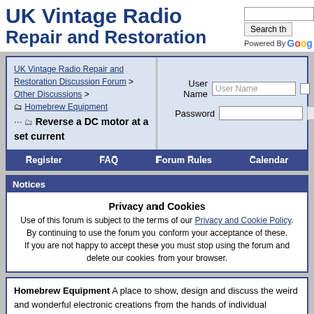UK Vintage Radio Repair and Restoration
UK Vintage Radio Repair and Restoration Discussion Forum > Other Discussions > Homebrew Equipment > Reverse a DC motor at a set current
User Name | Password | Remember Me? | Log in
Register | FAQ | Forum Rules | Calendar
Notices
Privacy and Cookies
Use of this forum is subject to the terms of our Privacy and Cookie Policy.
By continuing to use the forum you conform your acceptance of these.
If you are not happy to accept these you must stop using the forum and delete our cookies from your browser.
Homebrew Equipment A place to show, design and discuss the weird and wonderful electronic creations from the hands of individual members.